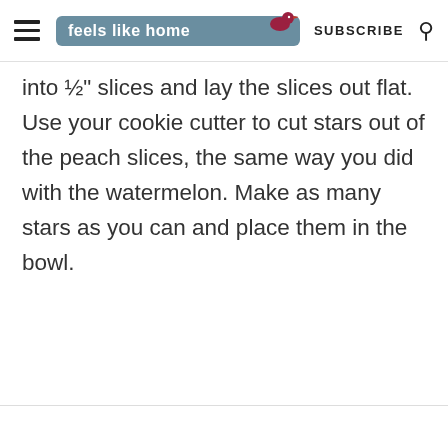feels like home | SUBSCRIBE
into ½" slices and lay the slices out flat. Use your cookie cutter to cut stars out of the peach slices, the same way you did with the watermelon. Make as many stars as you can and place them in the bowl.